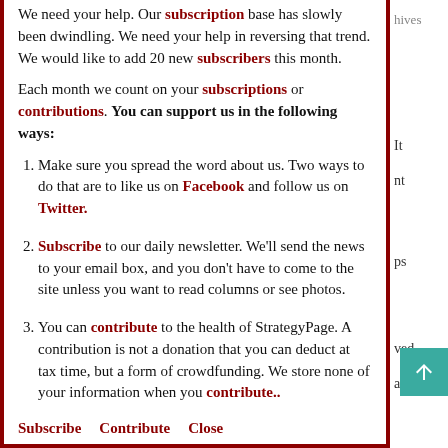We need your help. Our subscription base has slowly been dwindling. We need your help in reversing that trend. We would like to add 20 new subscribers this month.
Each month we count on your subscriptions or contributions. You can support us in the following ways:
1. Make sure you spread the word about us. Two ways to do that are to like us on Facebook and follow us on Twitter.
2. Subscribe to our daily newsletter. We'll send the news to your email box, and you don't have to come to the site unless you want to read columns or see photos.
3. You can contribute to the health of StrategyPage. A contribution is not a donation that you can deduct at tax time, but a form of crowdfunding. We store none of your information when you contribute..
Subscribe   Contribute   Close